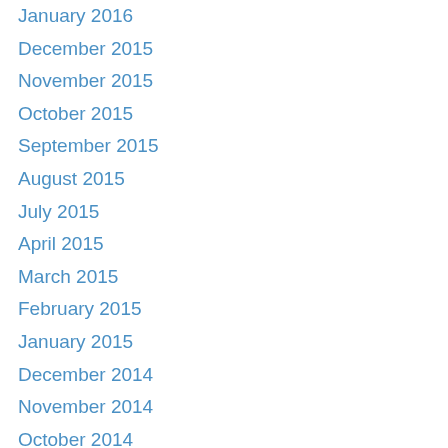January 2016
December 2015
November 2015
October 2015
September 2015
August 2015
July 2015
April 2015
March 2015
February 2015
January 2015
December 2014
November 2014
October 2014
September 2014
August 2014
July 2014
May 2014
April 2014
March 2014